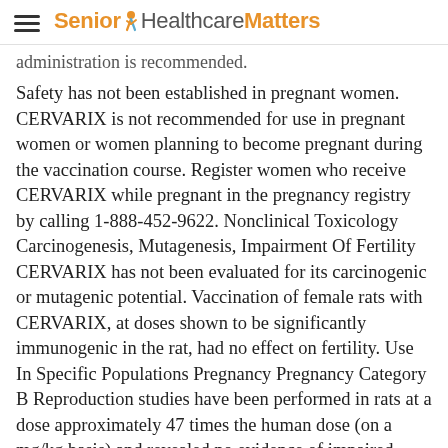Senior Healthcare Matters
administration is recommended.
Safety has not been established in pregnant women. CERVARIX is not recommended for use in pregnant women or women planning to become pregnant during the vaccination course. Register women who receive CERVARIX while pregnant in the pregnancy registry by calling 1-888-452-9622. Nonclinical Toxicology Carcinogenesis, Mutagenesis, Impairment Of Fertility CERVARIX has not been evaluated for its carcinogenic or mutagenic potential. Vaccination of female rats with CERVARIX, at doses shown to be significantly immunogenic in the rat, had no effect on fertility. Use In Specific Populations Pregnancy Pregnancy Category B Reproduction studies have been performed in rats at a dose approximately 47 times the human dose (on a mg/kg basis) and revealed no evidence of impaired fertility